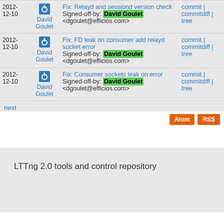| Date | Author | Message | Links |
| --- | --- | --- | --- |
| 2012-12-10 | David Goulet | Fix: Relayd and sessiond version check
Signed-off-by: David Goulet <dgoulet@efficios.com> | commit | commitdiff | tree |
| 2012-12-10 | David Goulet | Fix: FD leak on consumer add relayd socket error
Signed-off-by: David Goulet <dgoulet@efficios.com> | commit | commitdiff | tree |
| 2012-12-10 | David Goulet | Fix: Consumer sockets leak on error
Signed-off-by: David Goulet <dgoulet@efficios.com> | commit | commitdiff | tree |
next
This page took 0.057184 seconds and 3 git commands to generate.
LTTng 2.0 tools and control repository
Atom  RSS